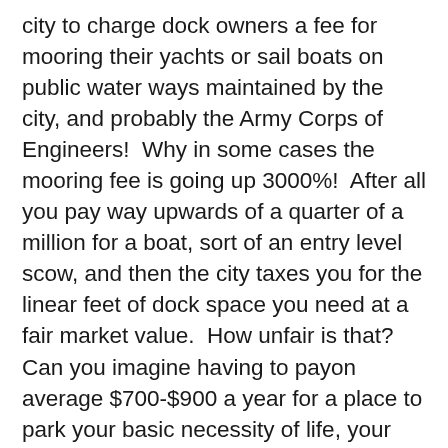city to charge dock owners a fee for mooring their yachts or sail boats on public water ways maintained by the city, and probably the Army Corps of Engineers!  Why in some cases the mooring fee is going up 3000%!  After all you pay way upwards of a quarter of a million for a boat, sort of an entry level scow, and then the city taxes you for the linear feet of dock space you need at a fair market value.  How unfair is that?  Can you imagine having to payon average $700-$900 a year for a place to park your basic necessity of life, your big-ass boat?  It costs more than that to park a car in Chi-town for a year! This recalls an old adage, if you have to ask the price, you can't afford it.  But who are we kidding here?  These are big expensive toys are moored in front of some of the priciest real estate in the country, and these job creators are bitching about a few hundred dollars to keep their harbour dredged out.  The other 95% of the country, especially us residents of the country side, not the elite, about to be booked